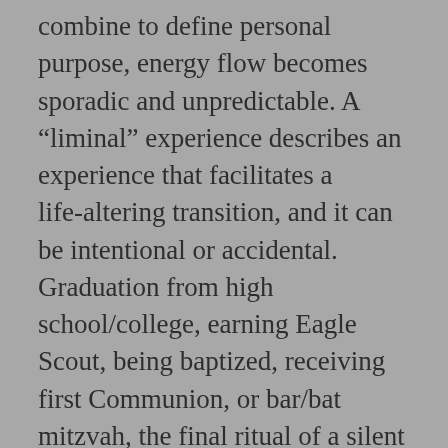combine to define personal purpose, energy flow becomes sporadic and unpredictable. A “liminal” experience describes an experience that facilitates a life-altering transition, and it can be intentional or accidental. Graduation from high school/college, earning Eagle Scout, being baptized, receiving first Communion, or bar/bat mitzvah, the final ritual of a silent retreat, concluding a sweat lodge or vision quest, etc. These are intentional experiences designed to bring about transition. Some liminal experiences come without our bidding, and some are joyous occasions while others are not. Your eyes come upon a beautiful scene while you are hiking, and you suddenly realize the deep value of life and vow to go on that pilgrimage you have put off for years. Or you go